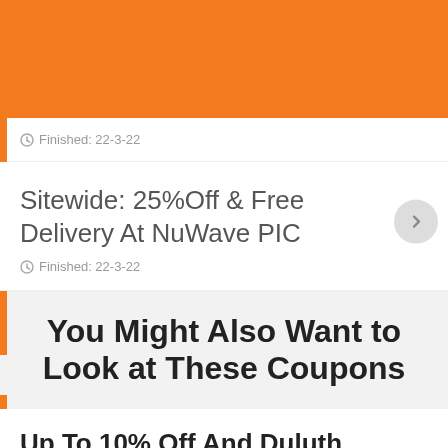[Figure (screenshot): Orange header banner at top of page]
Finished: 22-3-22
Sitewide: 25%Off & Free Delivery At NuWave PIC
Finished: 22-3-22
You Might Also Want to Look at These Coupons
Up To 10% Off And Duluth Trading Free Delivery
Duluth Trading coupons & deals >